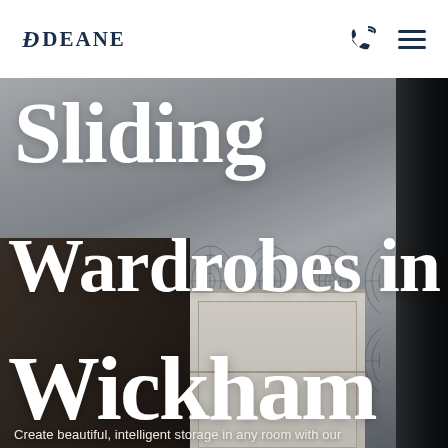DDEANE
[Figure (photo): Interior room photo showing a bedroom with decorative geometric wallpaper, a dark wood wardrobe panel on the left, a window with white blinds in the centre, and a dark panel on the right. The image serves as a hero background.]
Sliding Wardrobes in Wickham
Create beautiful, intelligent storage in any room with our